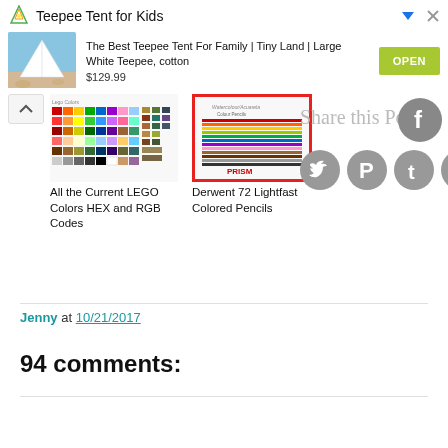[Figure (screenshot): Advertisement banner for Teepee Tent for Kids product showing a white teepee tent on a beach, priced at $129.99 with an OPEN button]
[Figure (photo): Thumbnail of All the Current LEGO Colors HEX and RGB Codes color chart]
[Figure (photo): Thumbnail of Derwent 72 Lightfast Colored Pencils product with red border]
All the Current LEGO Colors HEX and RGB Codes
Derwent 72 Lightfast Colored Pencils
Share this Post:
Jenny at 10/21/2017
94 comments: